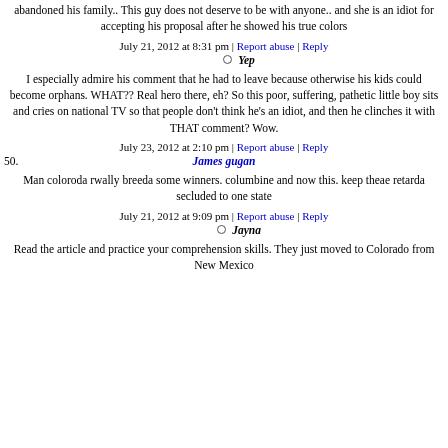abandoned his family.. This guy does not deserve to be with anyone.. and she is an idiot for accepting his proposal after he showed his true colors
July 21, 2012 at 8:31 pm | Report abuse | Reply
Yep
I especially admire his comment that he had to leave because otherwise his kids could become orphans. WHAT?? Real hero there, eh? So this poor, suffering, pathetic little boy sits and cries on national TV so that people don't think he's an idiot, and then he clinches it with THAT comment? Wow.
July 23, 2012 at 2:10 pm | Report abuse | Reply
James gugan
Man coloroda rwally breeda some winners. columbine and now this. keep theae retarda secluded to one state
July 21, 2012 at 9:09 pm | Report abuse | Reply
Jayna
Read the article and practice your comprehension skills. They just moved to Colorado from New Mexico